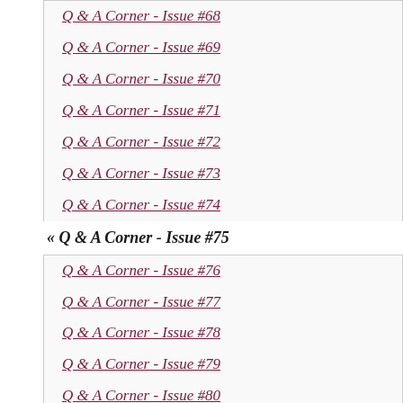Q & A Corner - Issue #68
Q & A Corner - Issue #69
Q & A Corner - Issue #70
Q & A Corner - Issue #71
Q & A Corner - Issue #72
Q & A Corner - Issue #73
Q & A Corner - Issue #74
« Q & A Corner - Issue #75
Q & A Corner - Issue #76
Q & A Corner - Issue #77
Q & A Corner - Issue #78
Q & A Corner - Issue #79
Q & A Corner - Issue #80
Q & A Corner - Issue #81
Q & A Corner - Issue #82
Q & A Corner - Issue #83
Q & A Corner - Issue #84